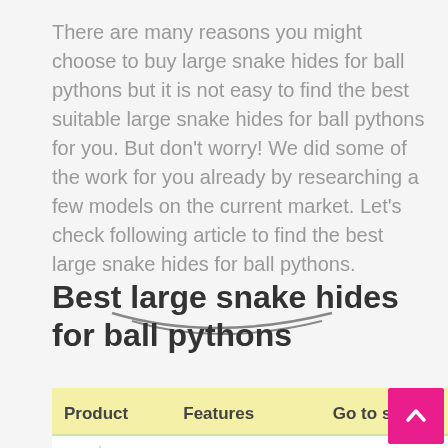There are many reasons you might choose to buy large snake hides for ball pythons but it is not easy to find the best suitable large snake hides for ball pythons for you. But don't worry! We did some of the work for you already by researching a few models on the current market. Let's check following article to find the best large snake hides for ball pythons.
Best large snake hides for ball pythons
| Product | Features | Go to site |
| --- | --- | --- |
| Editor's choice | ReptiChip Compressed |  |